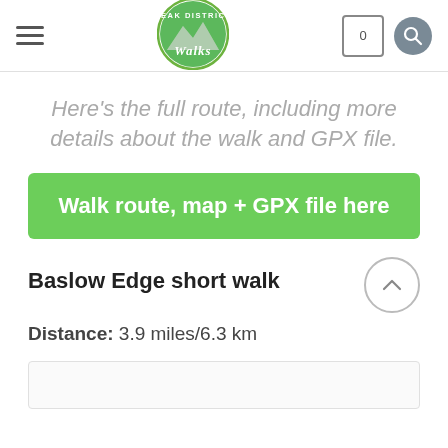Peak District Walks — navigation header with hamburger menu, logo, cart (0), and search icon
Here's the full route, including more details about the walk and GPX file.
Walk route, map + GPX file here
Baslow Edge short walk
Distance: 3.9 miles/6.3 km